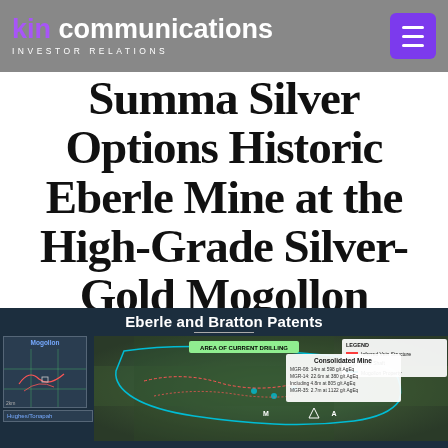kin communications INVESTOR RELATIONS
Summa Silver Options Historic Eberle Mine at the High-Grade Silver-Gold Mogollon Property, New Mexico
[Figure (map): Eberle and Bratton Patents satellite map showing area of current drilling, consolidated mine information, and legend with inferred vein structures, mine shaft, and Mogollon Property markers. Includes a small inset locator map labeled Mogollon with Hughes/Tonapah below.]